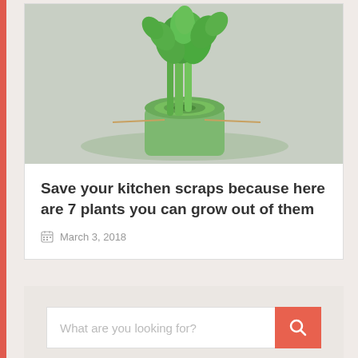[Figure (photo): Photo of celery stalk with green leaves growing from a cut base on a glass plate, gray background]
Save your kitchen scraps because here are 7 plants you can grow out of them
March 3, 2018
[Figure (screenshot): Search bar with placeholder text 'What are you looking for?' and an orange/red search button with magnifying glass icon]